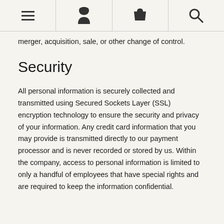[navigation bar with menu, user, cart, and search icons]
merger, acquisition, sale, or other change of control.
Security
All personal information is securely collected and transmitted using Secured Sockets Layer (SSL) encryption technology to ensure the security and privacy of your information. Any credit card information that you may provide is transmitted directly to our payment processor and is never recorded or stored by us. Within the company, access to personal information is limited to only a handful of employees that have special rights and are required to keep the information confidential.